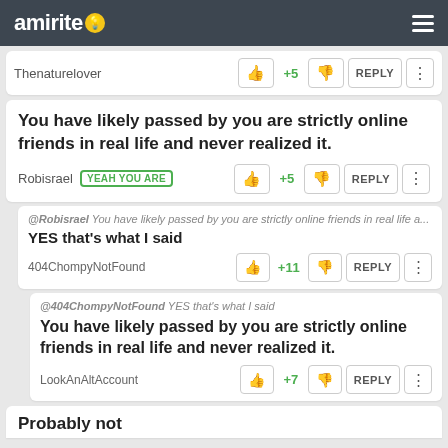amirite
Thenaturelover  +5  REPLY
You have likely passed by you are strictly online friends in real life and never realized it.
Robisrael  YEAH YOU ARE  +5  REPLY
@Robisrael You have likely passed by you are strictly online friends in real life a...
YES that's what I said
404ChompyNotFound  +11  REPLY
@404ChompyNotFound YES that's what I said
You have likely passed by you are strictly online friends in real life and never realized it.
LookAnAltAccount  +7  REPLY
Probably not